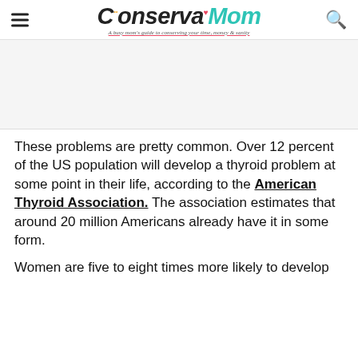ConservaMom — A busy mom's guide to conserving your time, money & sanity
[Figure (other): Advertisement placeholder banner]
These problems are pretty common. Over 12 percent of the US population will develop a thyroid problem at some point in their life, according to the American Thyroid Association. The association estimates that around 20 million Americans already have it in some form.
Women are five to eight times more likely to develop